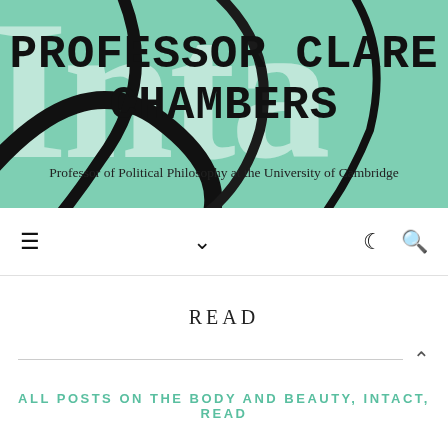[Figure (illustration): Green header banner with large semi-transparent serif 'Inta' text in background and decorative black curved brush strokes overlay]
PROFESSOR CLARE CHAMBERS
Professor of Political Philosophy at the University of Cambridge
≡  ∨  ☾  🔍
READ
ALL POSTS ON THE BODY AND BEAUTY, INTACT, READ